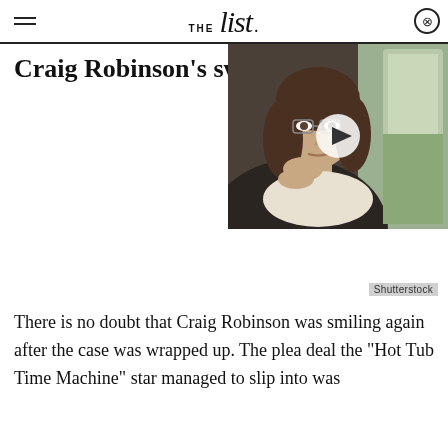THE list
Craig Robinson's swe
[Figure (photo): Video thumbnail showing a young woman with glasses sitting in a car, with a play button overlay. Shutterstock watermark visible.]
Shutterstock
There is no doubt that Craig Robinson was smiling again after the case was wrapped up. The plea deal the "Hot Tub Time Machine" star managed to slip into was